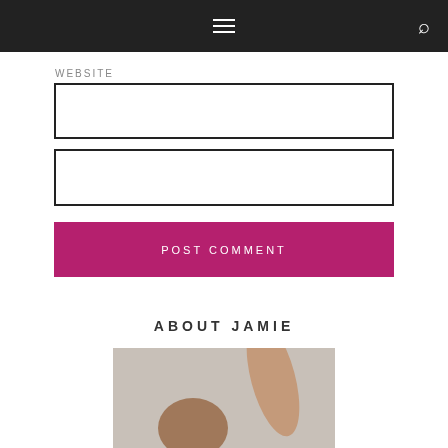WEBSITE
POST COMMENT
ABOUT JAMIE
[Figure (photo): Partial photo of a person, cropped at bottom of page]